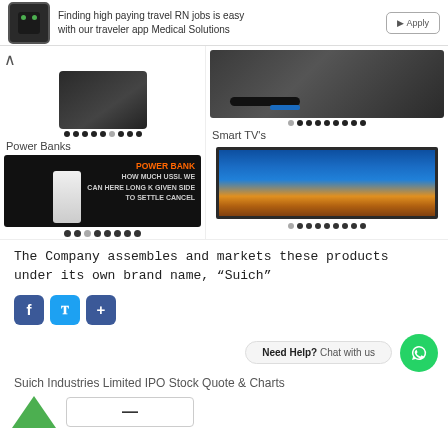[Figure (screenshot): Top advertisement banner for Medical Solutions traveler RN jobs app with logo and button]
[Figure (photo): Product carousel showing a black power bank device (left column) and a portable charger/USB cable close-up (right column) with navigation dots]
Power Banks
[Figure (photo): Power bank product image with orange POWER BANK text on dark background with white device]
Smart TV's
[Figure (photo): Smart TV product image showing a TV screen displaying a sunset landscape scene]
The Company assembles and markets these products under its own brand name, "Suich"
[Figure (screenshot): Social media share buttons: Facebook, Twitter, and Share]
Need Help? Chat with us
Suich Industries Limited IPO Stock Quote & Charts
[Figure (other): Green upward triangle chart indicator and price box placeholder]